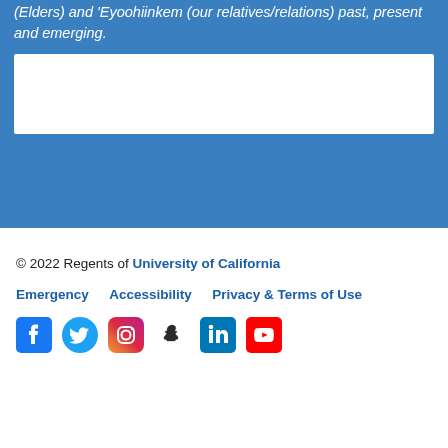(Elders) and 'Eyoohiinkem (our relatives/relations) past, present and emerging.
[Figure (other): White rectangular box placeholder within blue section]
© 2022 Regents of University of California
Emergency  Accessibility  Privacy & Terms of Use
[Social media icons: Facebook, Twitter, Instagram, Snapchat, LinkedIn, YouTube]